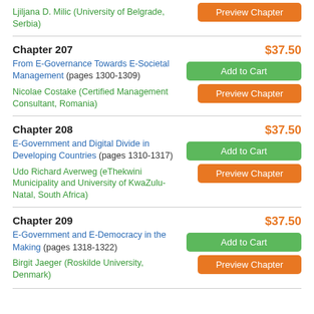Ljiljana D. Milic (University of Belgrade, Serbia)
Chapter 207
$37.50
From E-Governance Towards E-Societal Management (pages 1300-1309)
Nicolae Costake (Certified Management Consultant, Romania)
Chapter 208
$37.50
E-Government and Digital Divide in Developing Countries (pages 1310-1317)
Udo Richard Averweg (eThekwini Municipality and University of KwaZulu-Natal, South Africa)
Chapter 209
$37.50
E-Government and E-Democracy in the Making (pages 1318-1322)
Birgit Jaeger (Roskilde University, Denmark)